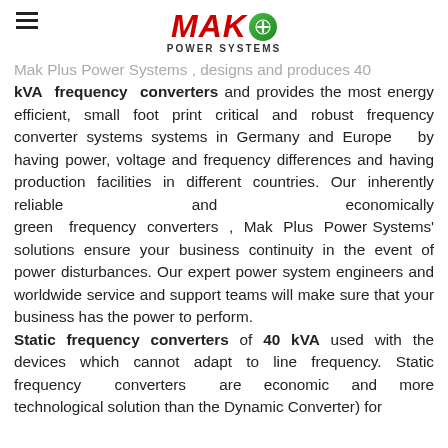MAK+ POWER SYSTEMS
Mak Plus Power Systems , designs and produces 40 kVA frequency converters and provides the most energy efficient, small foot print critical and robust frequency converter systems systems in Germany and Europe by having power, voltage and frequency differences and having production facilities in different countries. Our inherently reliable and economically green frequency converters , Mak Plus Power Systems' solutions ensure your business continuity in the event of power disturbances. Our expert power system engineers and worldwide service and support teams will make sure that your business has the power to perform. Static frequency converters of 40 kVA used with the devices which cannot adapt to line frequency. Static frequency converters are economic and more technological solution than the Dynamic Converter) for